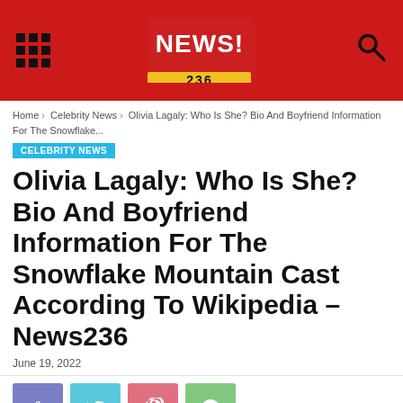NEWS! 236
Home › Celebrity News › Olivia Lagaly: Who Is She? Bio And Boyfriend Information For The Snowflake...
CELEBRITY NEWS
Olivia Lagaly: Who Is She? Bio And Boyfriend Information For The Snowflake Mountain Cast According To Wikipedia – News236
June 19, 2022
[Figure (infographic): Social share buttons: Facebook (purple), Twitter (light blue), Pinterest (pink/red), WhatsApp (green)]
Olivia Lagaly: Who Is She? Bio And Boyfriend Data For The